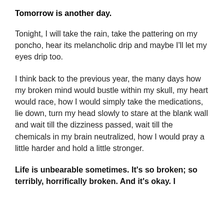Tomorrow is another day.
Tonight, I will take the rain, take the pattering on my poncho, hear its melancholic drip and maybe I'll let my eyes drip too.
I think back to the previous year, the many days how my broken mind would bustle within my skull, my heart would race, how I would simply take the medications, lie down, turn my head slowly to stare at the blank wall and wait till the dizziness passed, wait till the chemicals in my brain neutralized, how I would pray a little harder and hold a little stronger.
Life is unbearable sometimes. It's so broken; so terribly, horrifically broken. And it's okay. I